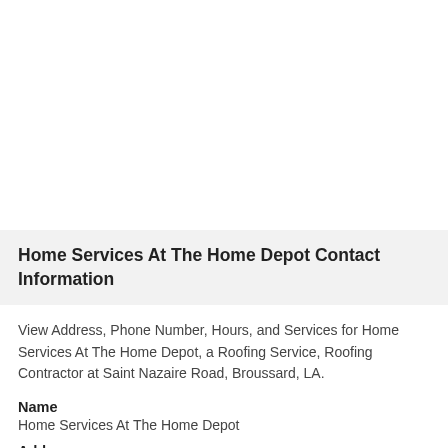Home Services At The Home Depot Contact Information
View Address, Phone Number, Hours, and Services for Home Services At The Home Depot, a Roofing Service, Roofing Contractor at Saint Nazaire Road, Broussard, LA.
Name
Home Services At The Home Depot
Address
319 Saint Nazaire Road...